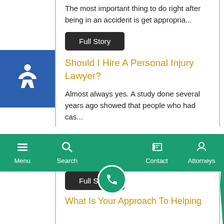The most important thing to do right after being in an accident is get appropria...
Full Story
Should I Hire A Personal Injury Lawyer?
Almost always yes. A study done several years ago showed that people who had cas...
Full Story
What Do I Bring When I Am Going To Meet With An Injury Attorney
[Figure (screenshot): Mobile navigation bar with Menu, Search, phone call button, Contact, and Attorneys icons on green background]
Full Story
What Is Your Approach To Helping